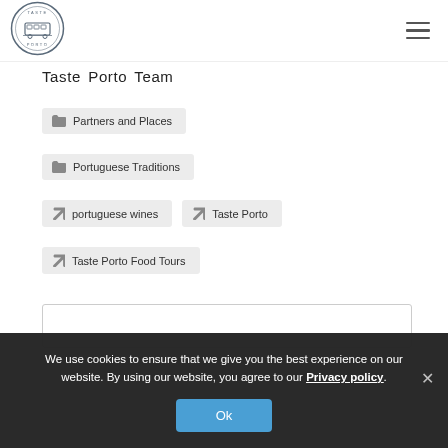[Figure (logo): Taste Porto circular logo with a tram illustration]
Taste Porto Team
Partners and Places
Portuguese Traditions
portuguese wines
Taste Porto
Taste Porto Food Tours
We use cookies to ensure that we give you the best experience on our website. By using our website, you agree to our Privacy policy.